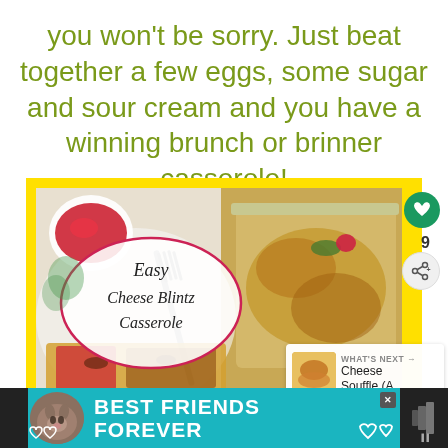you won't be sorry. Just beat together a few eggs, some sugar and sour cream and you have a winning brunch or brinner casserole!
[Figure (photo): Photo of Easy Cheese Blintz Casserole on a white plate with fork, red jam sauce, with a decorative label in the center. Yellow scalloped border frame. Social media UI elements: heart icon (9 likes), share button, and a 'What's Next' popup showing Cheese Souffle.]
[Figure (infographic): Teal banner advertisement with a cat photo and text 'BEST FRIENDS FOREVER' with heart decorations. Dark bars on left and right edges.]